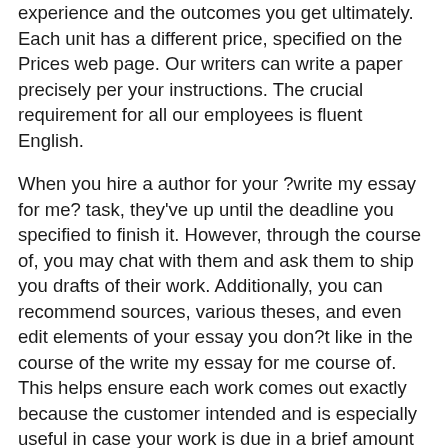experience and the outcomes you get ultimately. Each unit has a different price, specified on the Prices web page. Our writers can write a paper precisely per your instructions. The crucial requirement for all our employees is fluent English.
When you hire a author for your ?write my essay for me? task, they've up until the deadline you specified to finish it. However, through the course of, you may chat with them and ask them to ship you drafts of their work. Additionally, you can recommend sources, various theses, and even edit elements of your essay you don?t like in the course of the write my essay for me course of. This helps ensure each work comes out exactly because the customer intended and is especially useful in case your work is due in a brief amount of time. Our firm supplies providers from the most effective authors, that is confirmed by the feedback of our clients on sites similar to Sitejabber or TrustPilot. We usually are not like all other sites that promise you one of the best, however offer you companies from third world international locations with poor knowledge.